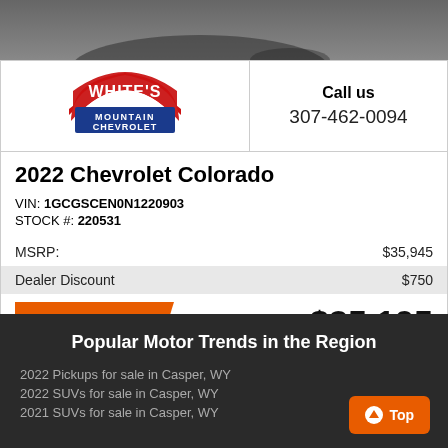[Figure (photo): Partial photo of a Chevrolet Colorado vehicle from above/rear]
[Figure (logo): White's Mountain Chevrolet logo — red arch with WHITE'S text, blue rectangle with MOUNTAIN CHEVROLET]
Call us
307-462-0094
2022 Chevrolet Colorado
VIN: 1GCGSCEN0N1220903
STOCK #: 220531
| MSRP: | $35,945 |
| Dealer Discount | $750 |
CLICK HERE
$35,195
Popular Motor Trends in the Region
2022 Pickups for sale in Casper, WY
2022 SUVs for sale in Casper, WY
2021 SUVs for sale in Casper, WY